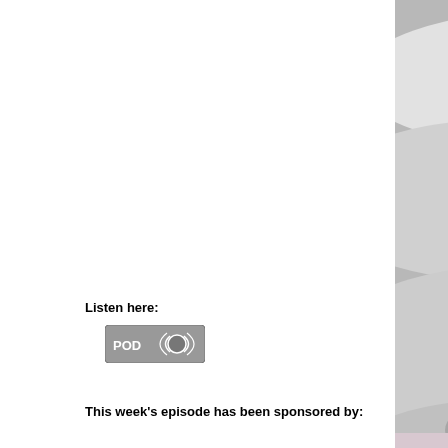[Figure (photo): Close-up photograph of white/cream wool roving or fleece, showing soft fluffy fibers coiled together. A Photobucket watermark overlay is visible in the center-right area with camera icon and text 'photobucket host. store. sh...']
Listen here:
[Figure (logo): POD podcast button/badge - a small rectangular grey button with 'POD' text and a circular radio wave icon]
This week's episode has been sponsored by:
[Figure (photo): Partial view of another image at the bottom right, appears to be a light pink/lavender colored product or textile]